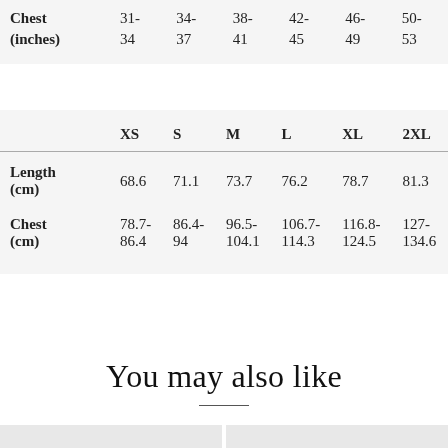|  | XS | S | M | L | XL | 2XL |
| --- | --- | --- | --- | --- | --- | --- |
| Chest (inches) | 34 | 37 | 41 | 45 | 49 | 53 |
|  | XS | S | M | L | XL | 2XL |
| --- | --- | --- | --- | --- | --- | --- |
| Length (cm) | 68.6 | 71.1 | 73.7 | 76.2 | 78.7 | 81.3 |
| Chest (cm) | 78.7-86.4 | 86.4-94 | 96.5-104.1 | 106.7-114.3 | 116.8-124.5 | 127-134.6 |
You may also like